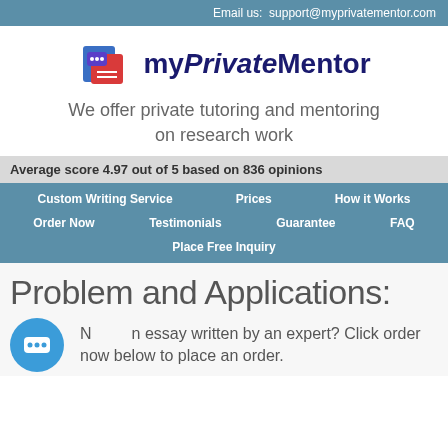Email us:  support@myprivatementor.com
[Figure (logo): myPrivateMentor logo with stacked books icon in blue and red]
We offer private tutoring and mentoring on research work
Average score 4.97 out of 5 based on 836 opinions
Custom Writing Service
Prices
How it Works
Order Now
Testimonials
Guarantee
FAQ
Place Free Inquiry
Problem and Applications:
Need an essay written by an expert? Click order now below to place an order.